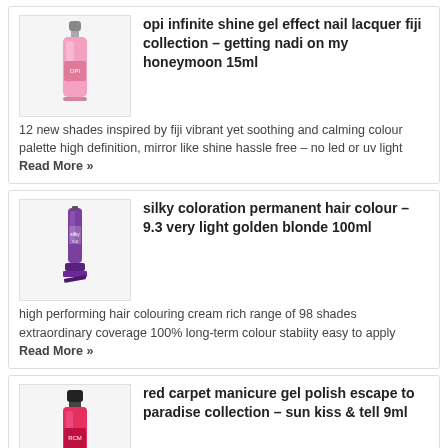[Figure (photo): OPI nail polish bottle in pink color]
opi infinite shine gel effect nail lacquer fiji collection – getting nadi on my honeymoon 15ml
12 new shades inspired by fiji vibrant yet soothing and calming colour palette high definition, mirror like shine hassle free – no led or uv light Read More »
[Figure (photo): Silky hair colour tube in purple packaging]
silky coloration permanent hair colour – 9.3 very light golden blonde 100ml
high performing hair colouring cream rich range of 98 shades extraordinary coverage 100% long-term colour stabiity easy to apply Read More »
[Figure (photo): Red Carpet Manicure gel polish bottle in red/pink]
red carpet manicure gel polish escape to paradise collection – sun kiss & tell 9ml
escape to paradise collection 6 gorgeous summer shades high shine, chip free professional finish lasts for up to 3 weeks apply like regular nail lacquer but Read More »
[Figure (photo): AgeBeautiful permanent hair colour bottle in red]
agebeautiful permanent hair colour – 8rc strawberry blonde 60ml